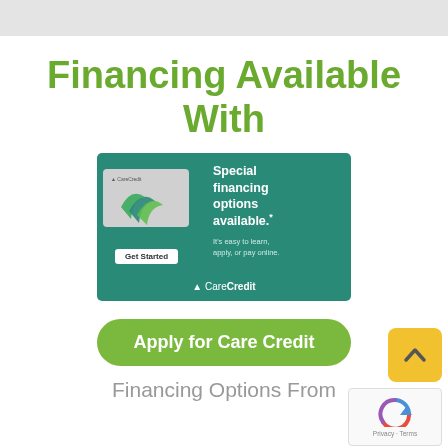Financing Available With
[Figure (illustration): CareCredit banner advertisement showing a CareCredit card graphic on the left and text on the right reading 'Special financing options available.' with a 'Get Started' button and tagline 'It's easy to learn, apply, or pay online.' The CareCredit logo appears at the bottom.]
Apply for Care Credit
Financing Options From